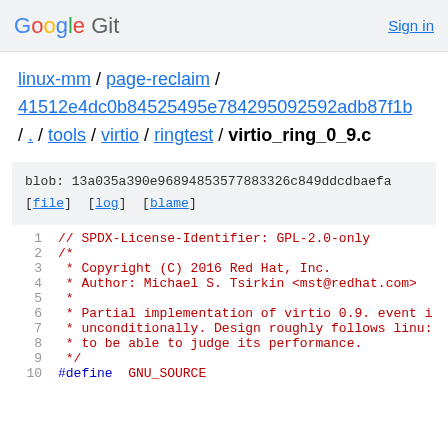Google Git   Sign in
linux-mm / page-reclaim / 41512e4dc0b84525495e784295092592adb87f1b / . / tools / virtio / ringtest / virtio_ring_0_9.c
blob: 13a035a390e96894853577883326c849ddcdbaefa
[file] [log] [blame]
1  // SPDX-License-Identifier: GPL-2.0-only
2  /*
3   * Copyright (C) 2016 Red Hat, Inc.
4   * Author: Michael S. Tsirkin <mst@redhat.com>
5   *
6   * Partial implementation of virtio 0.9. event i
7   * unconditionally. Design roughly follows linu:
8   * to be able to judge its performance.
9   */
10  #define  GNU_SOURCE